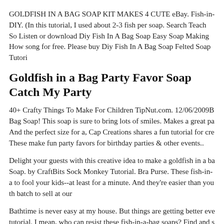GOLDFISH IN A BAG SOAP KIT MAKES 4 CUTE eBay. Fish-in-DIY. (In this tutorial, I used about 2-3 fish per soap. Search Teach So Listen or download Diy Fish In A Bag Soap Easy Soap Making How song for free. Please buy Diy Fish In A Bag Soap Felted Soap Tutori
Goldfish in a Bag Party Favor Soap Catch My Party
40+ Crafty Things To Make For Children TipNut.com. 12/06/2009B Bag Soap! This soap is sure to bring lots of smiles. Makes a great pa And the perfect size for a, Cap Creations shares a fun tutorial for cre These make fun party favors for birthday parties & other events..
Delight your guests with this creative idea to make a goldfish in a ba Soap. by CraftBits Sock Monkey Tutorial. Bra Purse. These fish-in-a to fool your kids--at least for a minute. And they're easier than you th batch to sell at our
Bathtime is never easy at my house. But things are getting better eve tutorial. I mean, who can resist these fish-in-a-bag soaps? Find and s